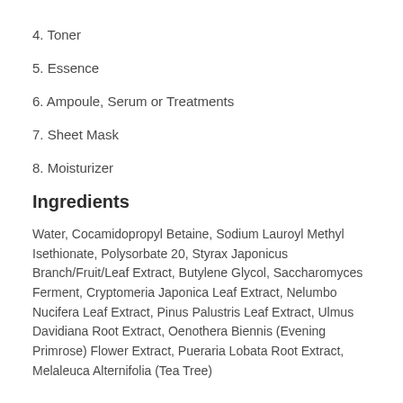4. Toner
5. Essence
6. Ampoule, Serum or Treatments
7. Sheet Mask
8. Moisturizer
Ingredients
Water, Cocamidopropyl Betaine, Sodium Lauroyl Methyl Isethionate, Polysorbate 20, Styrax Japonicus Branch/Fruit/Leaf Extract, Butylene Glycol, Saccharomyces Ferment, Cryptomeria Japonica Leaf Extract, Nelumbo Nucifera Leaf Extract, Pinus Palustris Leaf Extract, Ulmus Davidiana Root Extract, Oenothera Biennis (Evening Primrose) Flower Extract, Pueraria Lobata Root Extract, Melaleuca Alternifolia (Tea Tree)